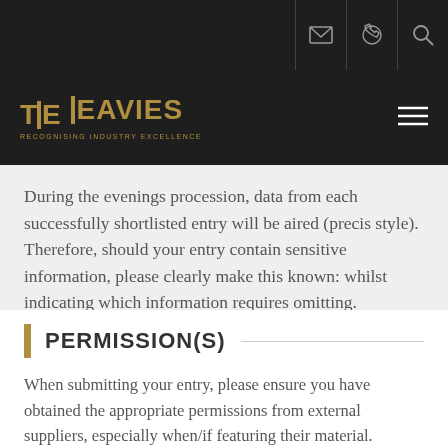THE HEAVIES — RECOGNISING INDUSTRY EXCELLENCE
During the evenings procession, data from each successfully shortlisted entry will be aired (precis style). Therefore, should your entry contain sensitive information, please clearly make this known: whilst indicating which information requires omitting.
PERMISSION(S)
When submitting your entry, please ensure you have obtained the appropriate permissions from external suppliers, especially when/if featuring their material.